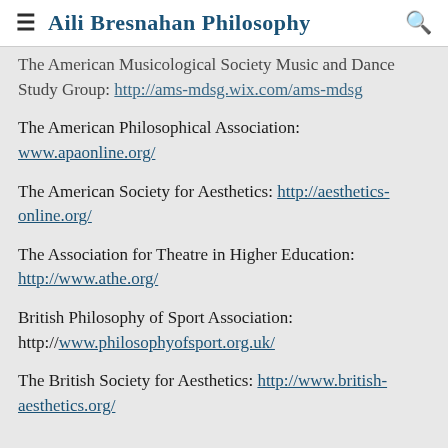Aili Bresnahan Philosophy
The American Musicological Society Music and Dance Study Group: http://ams-mdsg.wix.com/ams-mdsg
The American Philosophical Association: www.apaonline.org/
The American Society for Aesthetics: http://aesthetics-online.org/
The Association for Theatre in Higher Education: http://www.athe.org/
British Philosophy of Sport Association: http://www.philosophyofsport.org.uk/
The British Society for Aesthetics: http://www.british-aesthetics.org/